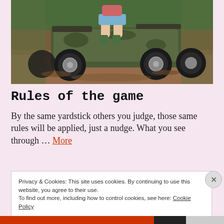[Figure (photo): A person riding a camouflage ATV/quad bike through muddy terrain. The vehicle has large mud-covered tires and the rider is wearing shorts and green boots.]
Rules of the game
By the same yardstick others you judge, those same rules will be applied, just a nudge. What you see through … More
Privacy & Cookies: This site uses cookies. By continuing to use this website, you agree to their use.
To find out more, including how to control cookies, see here: Cookie Policy
Close and accept